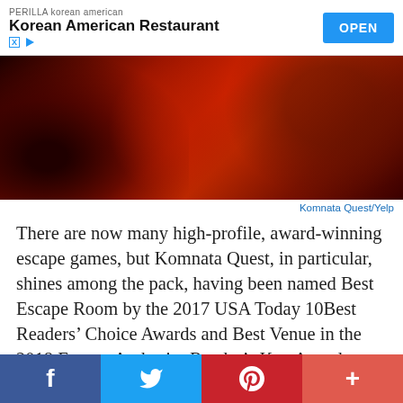[Figure (other): Advertisement banner for PERILLA korean american Korean American Restaurant with blue OPEN button]
[Figure (photo): Dark red atmospheric photo, appears to be interior of escape room with dramatic lighting]
Komnata Quest/Yelp
There are now many high-profile, award-winning escape games, but Komnata Quest, in particular, shines among the pack, having been named Best Escape Room by the 2017 USA Today 10Best Readers' Choice Awards and Best Venue in the 2018 Escape Authority Reader's Key Award. Using state-of-the-art technology, truly creative set designs and fantastic
[Figure (other): Social share bar with Facebook, Twitter, Pinterest, and plus buttons]